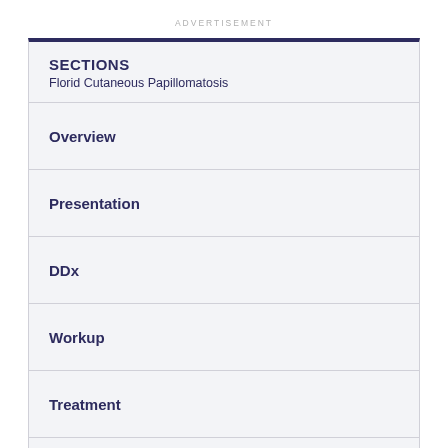ADVERTISEMENT
SECTIONS
Florid Cutaneous Papillomatosis
Overview
Presentation
DDx
Workup
Treatment
References